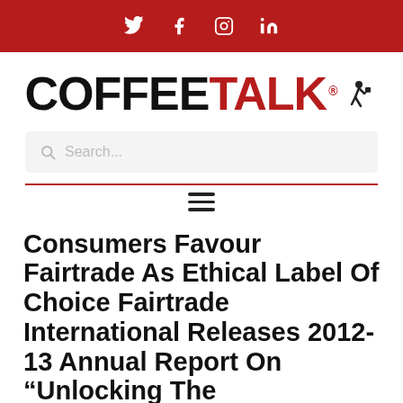Social icons: Twitter, Facebook, Instagram, LinkedIn
[Figure (logo): CoffeeTalk logo with stylized text and running figure icon]
Search...
Consumers Favour Fairtrade As Ethical Label Of Choice Fairtrade International Releases 2012-13 Annual Report On “Unlocking The